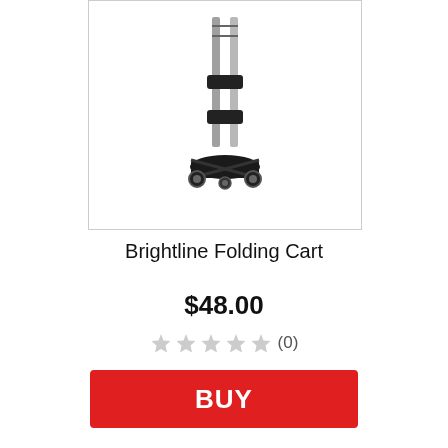[Figure (photo): Product photo of a Brightline Folding Cart — a compact luggage-style folding cart with an extendable telescopic handle and small wheels at the base, shown against a white background.]
Brightline Folding Cart
$48.00
[Figure (other): Five empty/unfilled gray star icons representing a 0-star rating.]
(0)
BUY